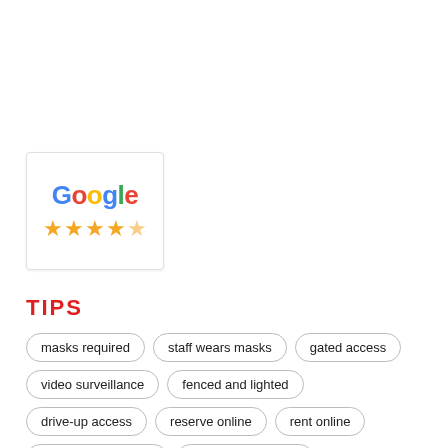[Figure (logo): Google logo with colored letters and 4.5 star orange rating displayed in a white card with border]
TIPS
masks required
staff wears masks
gated access
video surveillance
fenced and lighted
drive-up access
reserve online
rent online
handcarts available
insurance required